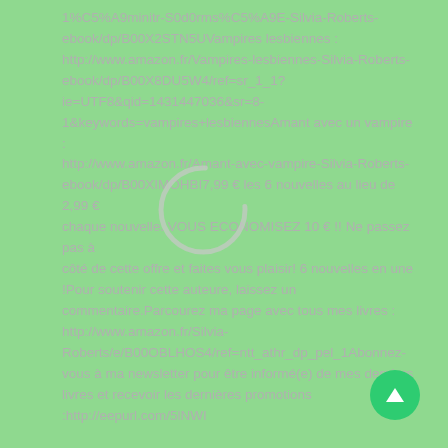1%C5%A9minitr-S0d0rms%C5%A9E-Silvia-Roberts-ebook/dp/B00X2STN5UVampires lesbiennes : http://www.amazon.fr/Vampires-lesbiennes-Silvia-Roberts-ebook/dp/B00X8DU5W4/ref=sr_1_1?ie=UTF8&qid=1431447036&sr=8-1&keywords=vampires+lesbiennesAmant avec un vampire : http://www.amazon.fr/Amant-avec-vampire-Silvia-Roberts-ebook/dp/B00XIMOHBI7,99 € les 6 nouvelles au lieu de 2,99 € chaque nouvelle. VOUS ECONOMISEZ 10 € !! Ne passez pas à côté de cette offre et faites vous plaisir! 6 nouvelles en une !Pour soutenir cette auteure, laissez un commentaire.Parcourez ma page avec tous mes livres : http://www.amazon.fr/Silvia-Roberts/e/B00OBLHOS4/ref=ntt_athr_dp_pel_1Abonnez-vous à ma newsletter pour être informé(e) de mes derniers livres et recevoir les dernières promotions :http://eepurl.com/5lNWI